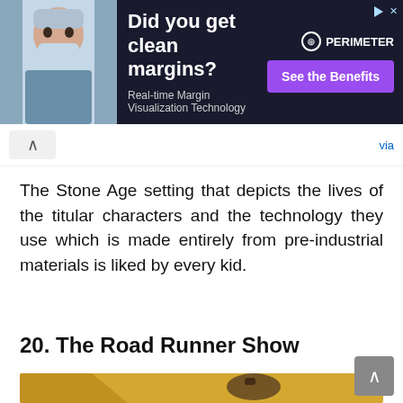[Figure (screenshot): Advertisement banner: dark background with doctor image on left, text 'Did you get clean margins? Real-time Margin Visualization Technology', purple 'See the Benefits' button, and PERIMETER logo on right]
via
The Stone Age setting that depicts the lives of the titular characters and the technology they use which is made entirely from pre-industrial materials is liked by every kid.
20. The Road Runner Show
[Figure (illustration): Cartoon image of Wile E. Coyote running on a yellow background, with a ramp or wedge shape visible on the left. The coyote appears to be running frantically.]